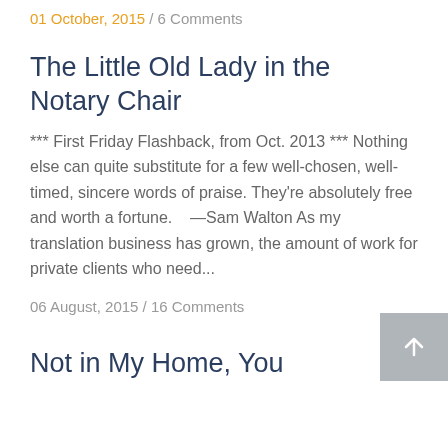01 October, 2015 / 6 Comments
The Little Old Lady in the Notary Chair
*** First Friday Flashback, from Oct. 2013 *** Nothing else can quite substitute for a few well-chosen, well-timed, sincere words of praise. They're absolutely free and worth a fortune.    —Sam Walton As my translation business has grown, the amount of work for private clients who need...
06 August, 2015 / 16 Comments
Not in My Home, You